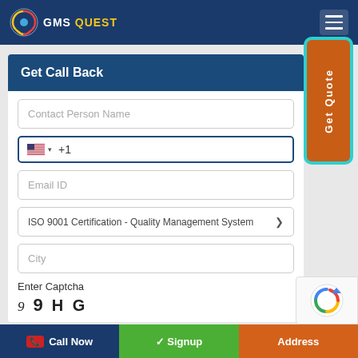GMS QUEST
[Figure (screenshot): Get Quote vertical button on right side, orange with teal border]
Get Call Back
Contact Person Name
+1
Email ID
ISO 9001 Certification - Quality Management System
City
Enter Captcha
9 9 H G
Call Now  Signup  Address